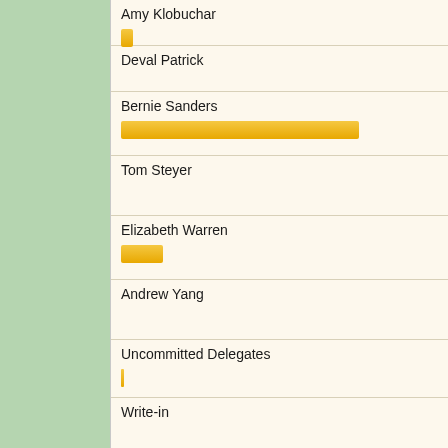[Figure (bar-chart): Primary Election Results]
Total Votes